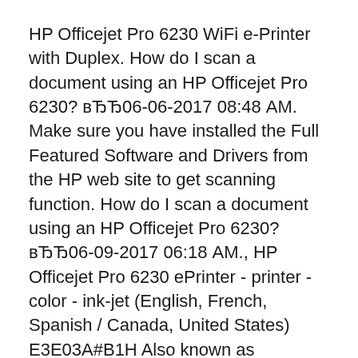HP Officejet Pro 6230 WiFi e-Printer with Duplex. How do I scan a document using an HP Officejet Pro 6230? вЂЂ06-06-2017 08:48 AM. Make sure you have installed the Full Featured Software and Drivers from the HP web site to get scanning function. How do I scan a document using an HP Officejet Pro 6230? вЂЂ06-09-2017 06:18 AM., HP Officejet Pro 6230 ePrinter - printer - color - ink-jet (English, French, Spanish / Canada, United States) E3E03A#B1H Also known as TD1788CV,IM65577W,SY5335246.
HP impressora HP Officejet Pro 6230 - Printer...